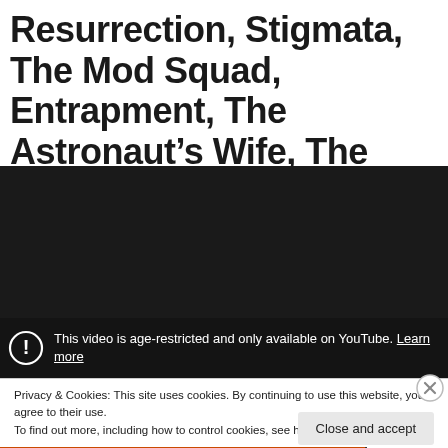Resurrection, Stigmata, The Mod Squad, Entrapment, The Astronaut’s Wife, The Rage: Carrie 2, AND...
[Figure (screenshot): YouTube embedded video player showing an age-restriction warning overlay. The overlay reads: 'This video is age-restricted and only available on YouTube. Learn more' with a warning icon circle.]
Privacy & Cookies: This site uses cookies. By continuing to use this website, you agree to their use.
To find out more, including how to control cookies, see here: Cookie Policy
Close and accept